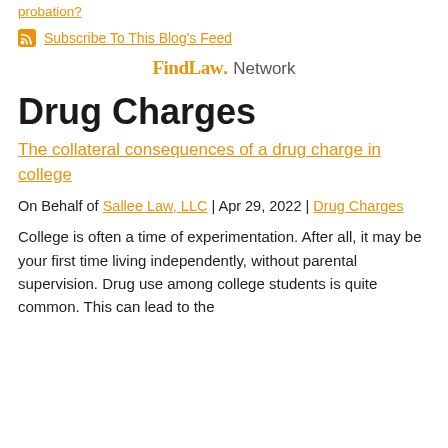probation?
Subscribe To This Blog's Feed
[Figure (logo): FindLaw. Network logo]
Drug Charges
The collateral consequences of a drug charge in college
On Behalf of Sallee Law, LLC | Apr 29, 2022 | Drug Charges
College is often a time of experimentation. After all, it may be your first time living independently, without parental supervision. Drug use among college students is quite common. This can lead to the